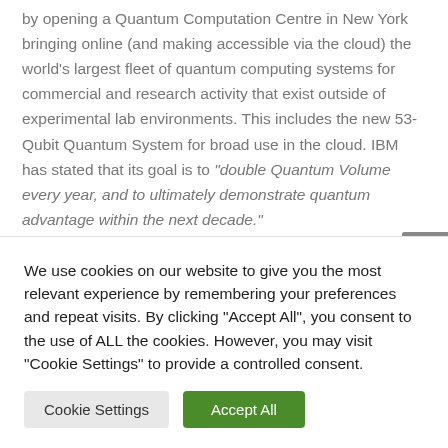by opening a Quantum Computation Centre in New York bringing online (and making accessible via the cloud) the world's largest fleet of quantum computing systems for commercial and research activity that exist outside of experimental lab environments. This includes the new 53-Qubit Quantum System for broad use in the cloud. IBM has stated that its goal is to "double Quantum Volume every year, and to ultimately demonstrate quantum advantage within the next decade."
What Does This Mean For Your Business?
We use cookies on our website to give you the most relevant experience by remembering your preferences and repeat visits. By clicking "Accept All", you consent to the use of ALL the cookies. However, you may visit "Cookie Settings" to provide a controlled consent.